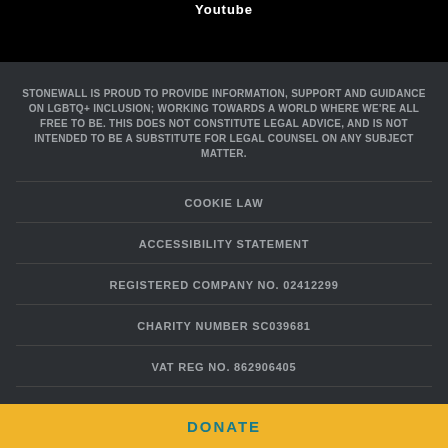Youtube
STONEWALL IS PROUD TO PROVIDE INFORMATION, SUPPORT AND GUIDANCE ON LGBTQ+ INCLUSION; WORKING TOWARDS A WORLD WHERE WE'RE ALL FREE TO BE. THIS DOES NOT CONSTITUTE LEGAL ADVICE, AND IS NOT INTENDED TO BE A SUBSTITUTE FOR LEGAL COUNSEL ON ANY SUBJECT MATTER.
COOKIE LAW
ACCESSIBILITY STATEMENT
REGISTERED COMPANY NO. 02412299
CHARITY NUMBER SC039681
VAT REG NO. 862906405
SITE BY CATCH
© COPYRIGHT 2022 STONEWALL
DONATE